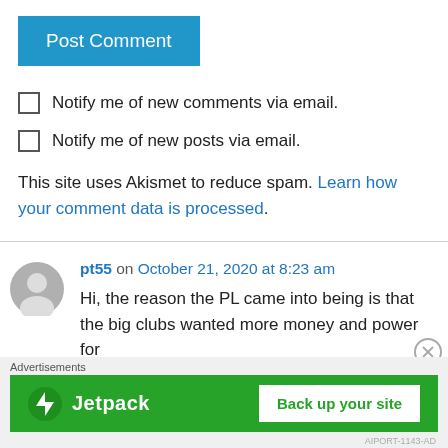Post Comment
Notify me of new comments via email.
Notify me of new posts via email.
This site uses Akismet to reduce spam. Learn how your comment data is processed.
pt55 on October 21, 2020 at 8:23 am
Hi, the reason the PL came into being is that the big clubs wanted more money and power for
[Figure (screenshot): Jetpack advertisement banner with green background, Jetpack logo on the left, and 'Back up your site' button on the right. Label 'Advertisements' above.]